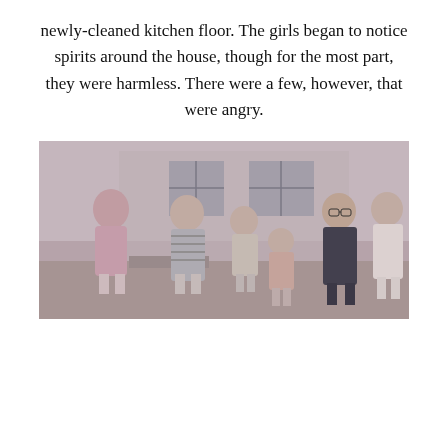newly-cleaned kitchen floor. The girls began to notice spirits around the house, though for the most part, they were harmless. There were a few, however, that were angry.
[Figure (photo): A vintage sepia-toned photograph showing five girls/young women standing outside in front of a house. They are wearing winter coats and hats typical of the 1960s–70s era.]